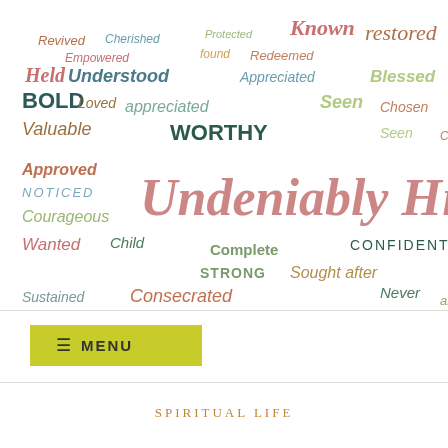[Figure (illustration): Word cloud illustration with the phrase 'Undeniably His' prominently in the center in large pink/rose letters, surrounded by many faith/identity-affirming words in various colors and sizes including: Revived, Cherished, Protected, Known, Restored, Called, Beautiful, Unique, Empowered, Found, Redeemed, Victorious, Creative, Forgiven, Held, Understood, Appreciated, Blessed, Covered, Temple, Provided, Bold, Loved, Seen, Equipped, Desirable, Free, Sealed, Valuable, Worthy, Chosen, Approved, Enough, Noticed, Pursued, Courageous, Special, Complete, Confident, Anointed, Clean, Wanted, Child, Strong, Sought After, Created On, Directed, Sustained, Consecrated, Never Alone, Purpose, Heir]
[Figure (screenshot): Navigation menu button with hamburger icon and text MENU on a yellow-green background]
SPIRITUAL LIFE